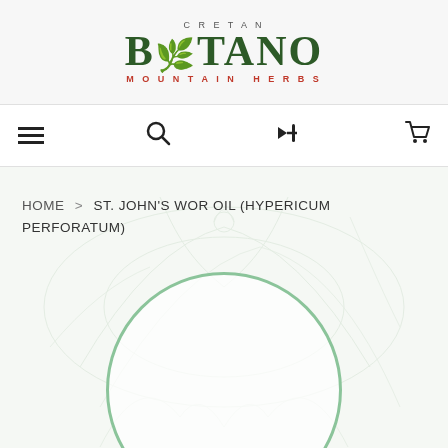[Figure (logo): Cretan Botano Mountain Herbs logo with stylized green text and red subtitle]
Navigation bar with hamburger menu, search icon, login arrow icon, and shopping cart icon
HOME > ST. JOHN'S WOR OIL (HYPERICUM PERFORATUM)
[Figure (illustration): Circular product image area with green circle border on botanical watermark background, partially cut off at bottom]